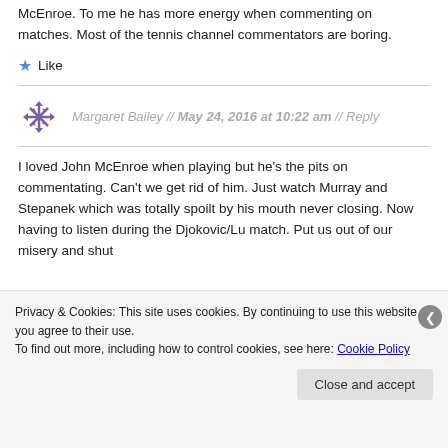McEnroe. To me he has more energy when commenting on matches. Most of the tennis channel commentators are boring.
★ Like
Margaret Bailey // May 24, 2016 at 10:22 am // Reply
I loved John McEnroe when playing but he's the pits on commentating. Can't we get rid of him. Just watch Murray and Stepanek which was totally spoilt by his mouth never closing. Now having to listen during the Djokovic/Lu match. Put us out of our misery and shut
Privacy & Cookies: This site uses cookies. By continuing to use this website, you agree to their use. To find out more, including how to control cookies, see here: Cookie Policy
Close and accept